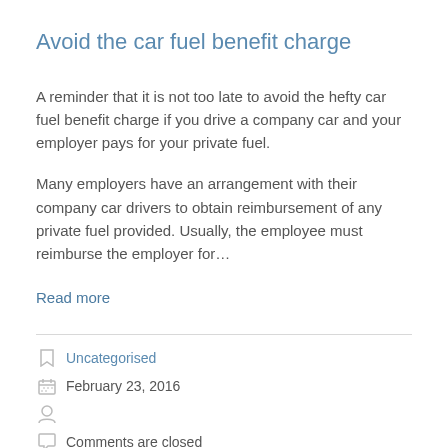Avoid the car fuel benefit charge
A reminder that it is not too late to avoid the hefty car fuel benefit charge if you drive a company car and your employer pays for your private fuel.
Many employers have an arrangement with their company car drivers to obtain reimbursement of any private fuel provided. Usually, the employee must reimburse the employer for...
Read more
Uncategorised
February 23, 2016
Comments are closed
Permalink